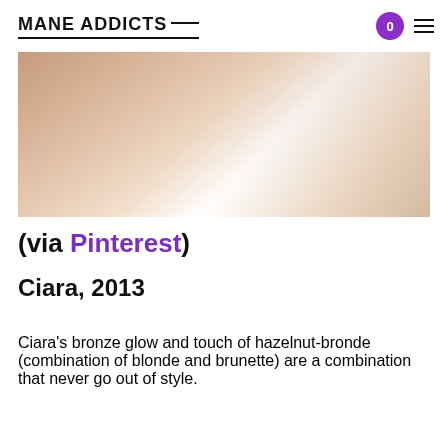MANE ADDICTS
[Figure (photo): Cropped photo of a person with warm toned skin, partially visible shoulder and arm area with white fabric, serving as an editorial image for a beauty/hair article]
(via Pinterest)
Ciara, 2013
Ciara's bronze glow and touch of hazelnut-bronde (combination of blonde and brunette) are a combination that never go out of style.